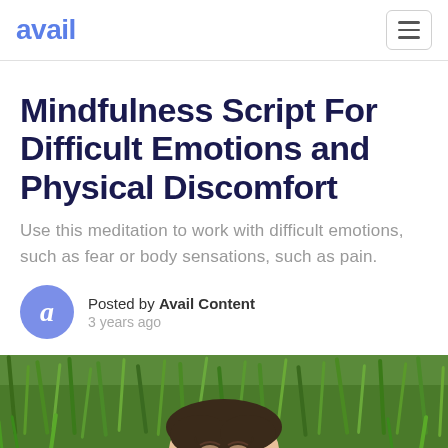avail
Mindfulness Script For Difficult Emotions and Physical Discomfort
Use this meditation to work with difficult emotions, such as fear or body sensations, such as pain.
Posted by Avail Content
3 years ago
[Figure (photo): Woman lying in green grass, eyes closed, smiling peacefully]